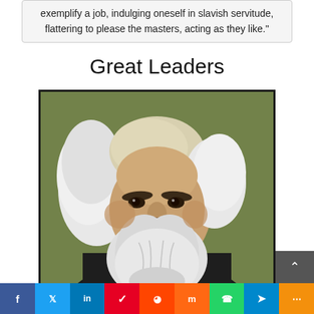exemplify a job, indulging oneself in slavish servitude, flattering to please the masters, acting as they like."
Great Leaders
[Figure (photo): Portrait of Karl Marx, an elderly man with voluminous white hair and a large white beard, wearing a dark suit, painted portrait style]
f | t | in | p | reddit | m | WhatsApp | Telegram | more